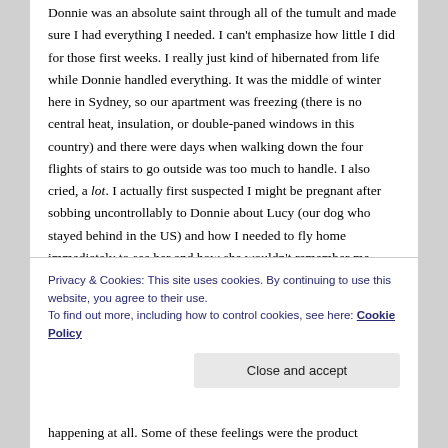Donnie was an absolute saint through all of the tumult and made sure I had everything I needed. I can't emphasize how little I did for those first weeks. I really just kind of hibernated from life while Donnie handled everything. It was the middle of winter here in Sydney, so our apartment was freezing (there is no central heat, insulation, or double-paned windows in this country) and there were days when walking down the four flights of stairs to go outside was too much to handle. I also cried, a lot. I actually first suspected I might be pregnant after sobbing uncontrollably to Donnie about Lucy (our dog who stayed behind in the US) and how I needed to fly home immediately to see her and how she wouldn't remember me when we went home. (I took a pregnancy test the next day after I realised this wasn't a "normal" reaction to
Privacy & Cookies: This site uses cookies. By continuing to use this website, you agree to their use.
To find out more, including how to control cookies, see here: Cookie Policy
happening at all. Some of these feelings were the product